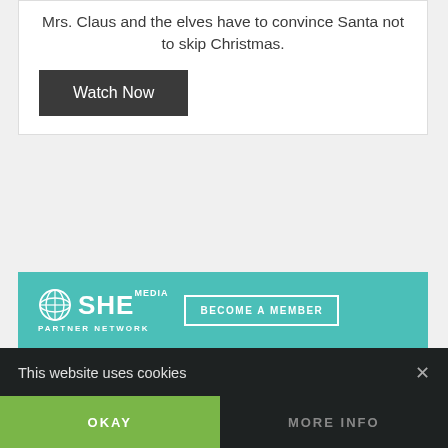Mrs. Claus and the elves have to convince Santa not to skip Christmas.
Watch Now
[Figure (infographic): SHE Media Partner Network banner with 'BECOME A MEMBER' button and 'Earning site & social revenue' tagline with dollar sign icon]
This website uses cookies
OKAY
MORE INFO